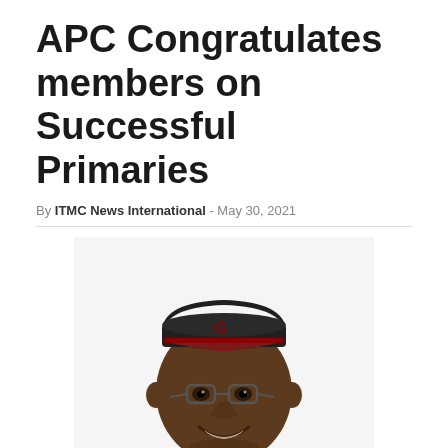APC Congratulates members on Successful Primaries
By ITMC News International - May 30, 2021
[Figure (photo): Portrait photo of a smiling man wearing glasses, a dark traditional Nigerian cap with red trim and a letter G, and a dark navy/black traditional attire (babariga/agbada style top). White background.]